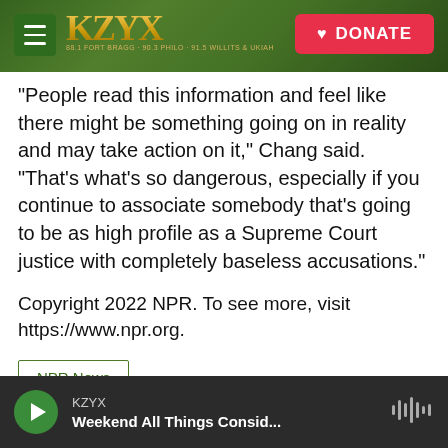[Figure (screenshot): KZYX radio station website header with forest background, hamburger menu icon, KZYX golden logo, and red DONATE button]
"People read this information and feel like there might be something going on in reality and may take action on it," Chang said. "That's what's so dangerous, especially if you continue to associate somebody that's going to be as high profile as a Supreme Court justice with completely baseless accusations."
Copyright 2022 NPR. To see more, visit https://www.npr.org.
NPR News
[Figure (screenshot): Audio player bar with green play button, KZYX station label, and 'Weekend All Things Consid...' program title, with audio waveform icon on the right]